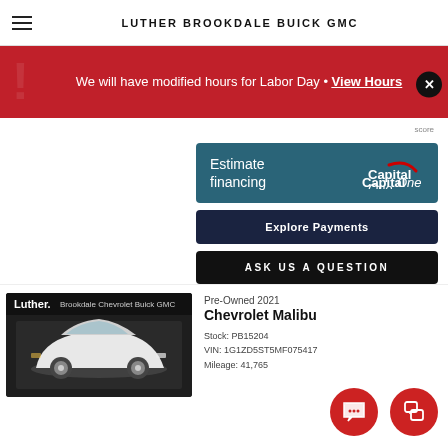LUTHER BROOKDALE BUICK GMC
We will have modified hours for Labor Day • View Hours
score
Estimate financing
Explore Payments
Ask Us A Question
Pre-Owned 2021
Chevrolet Malibu
Stock: PB15204
VIN: 1G1ZD5ST5MF075417
Mileage: 41,765
[Figure (screenshot): Luther Brookdale Chevrolet Buick GMC dealership logo banner with a white Chevrolet Malibu sedan car image]